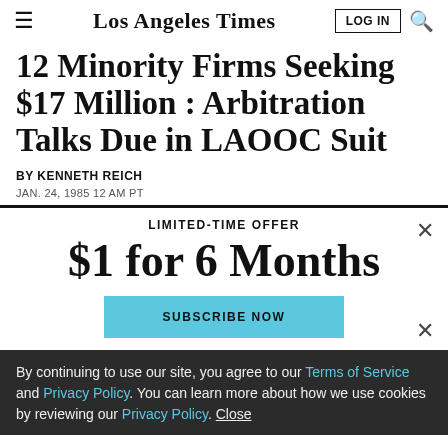Los Angeles Times
12 Minority Firms Seeking $17 Million : Arbitration Talks Due in LAOOC Suit
BY KENNETH REICH
JAN. 24, 1985 12 AM PT
LIMITED-TIME OFFER
$1 for 6 Months
SUBSCRIBE NOW
By continuing to use our site, you agree to our Terms of Service and Privacy Policy. You can learn more about how we use cookies by reviewing our Privacy Policy. Close